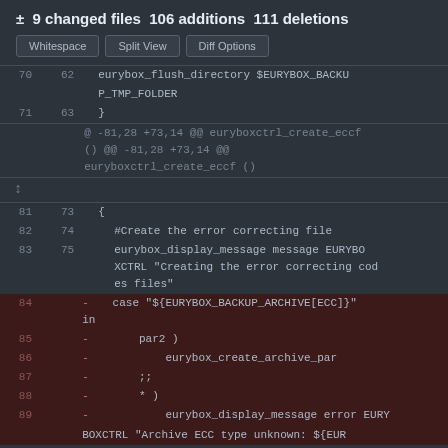± 9 changed files 106 additions 111 deletions
[Figure (screenshot): Diff view buttons: Whitespace, Split View, Diff Options]
70  62      eurybox_flush_directory $EURYBOX_BACKUP_TMP_FOLDER
71  63      }
       @ -81,28 +73,14 @@ euryboxctrl_create_eccf() @@ -81,28 +73,14 @@ euryboxctrl_create_eccf ()
81  73      {
82  74      #Create the error correcting file
83  75      eurybox_display_message message EURYBOXCTRL "Creating the error correcting codes files"
84  -   case "${EURYBOX_BACKUP_ARCHIVE[ECC]}" in
85  -       par2 )
86  -           eurybox_create_archive_par
87  -       ;;
88  -       * )
89  -           eurybox_display_message error EURYBOXCTRL "Archive ECC type unknown: ${EUR